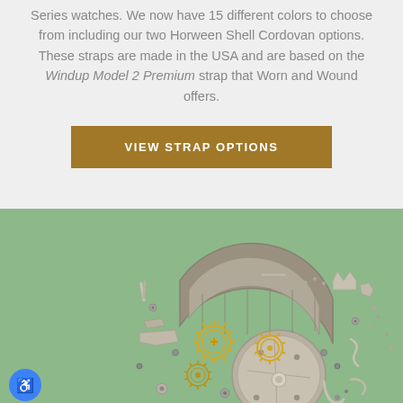Series watches. We now have 15 different colors to choose from including our two Horween Shell Cordovan options. These straps are made in the USA and are based on the Windup Model 2 Premium strap that Worn and Wound offers.
VIEW STRAP OPTIONS
[Figure (photo): Watch movement parts disassembled and laid out on a green background, showing gears, plates, screws, springs and other mechanical watch components]